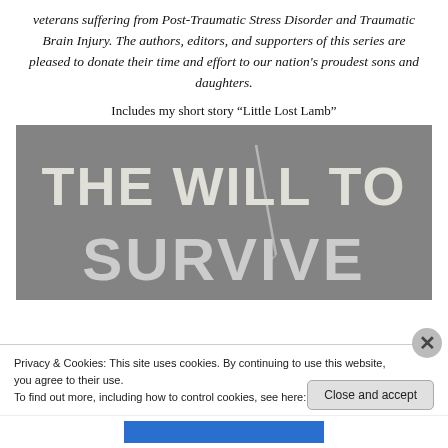veterans suffering from Post-Traumatic Stress Disorder and Traumatic Brain Injury. The authors, editors, and supporters of this series are pleased to donate their time and effort to our nation's proudest sons and daughters.
Includes my short story “Little Lost Lamb”
[Figure (photo): Book cover image showing large distressed/grunge text reading 'THE WILL TO SURVIVE' on a gray textured background with a compass or similar instrument visible]
Privacy & Cookies: This site uses cookies. By continuing to use this website, you agree to their use.
To find out more, including how to control cookies, see here: Cookie Policy
Close and accept